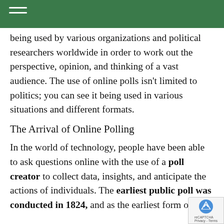being used by various organizations and political researchers worldwide in order to work out the perspective, opinion, and thinking of a vast audience. The use of online polls isn't limited to politics; you can see it being used in various situations and different formats.
The Arrival of Online Polling
In the world of technology, people have been able to ask questions online with the use of a poll creator to collect data, insights, and anticipate the actions of individuals. The earliest public poll was conducted in 1824, and as the earliest form of polling it was…